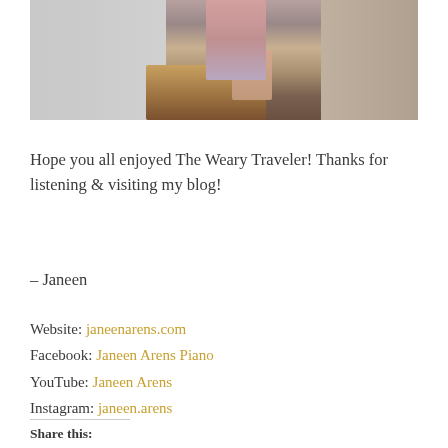[Figure (photo): Cropped photo of a person sitting at a wooden desk/table, legs visible, against a light grey/beige background]
Hope you all enjoyed The Weary Traveler! Thanks for listening & visiting my blog!
– Janeen
Website: janeenarens.com
Facebook: Janeen Arens Piano
YouTube: Janeen Arens
Instagram: janeen.arens
Share this: